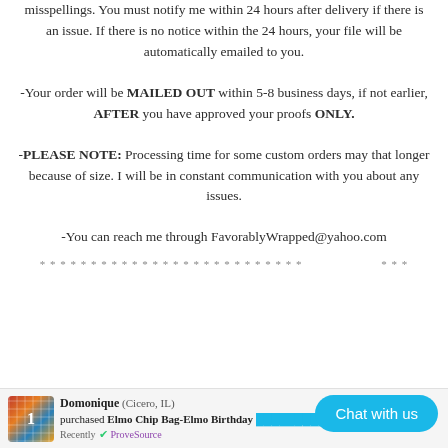misspellings. You must notify me within 24 hours after delivery if there is an issue. If there is no notice within the 24 hours, your file will be automatically emailed to you.
-Your order will be MAILED OUT within 5-8 business days, if not earlier, AFTER you have approved your proofs ONLY.
-PLEASE NOTE: Processing time for some custom orders may that longer because of size. I will be in constant communication with you about any issues.
-You can reach me through FavorablyWrapped@yahoo.com
* * * * * * * * * * * * * * * * * * * * * * * * * * * * * * * * * * * *
Domonique (Cicero, IL) purchased Elmo Chip Bag-Elmo Birthday Bag-Elmo Recently ProveSource
[Figure (other): Chat with us button overlay]